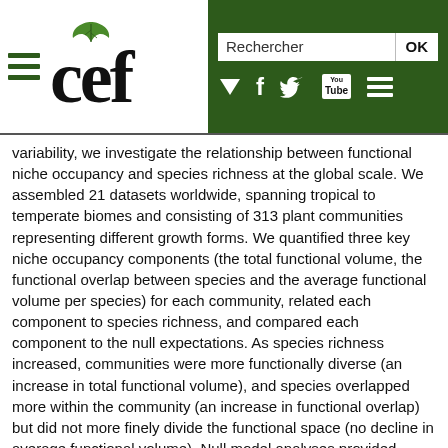CEF website header with logo, search box (Rechercher), OK button, and social media icons
variability, we investigate the relationship between functional niche occupancy and species richness at the global scale. We assembled 21 datasets worldwide, spanning tropical to temperate biomes and consisting of 313 plant communities representing different growth forms. We quantified three key niche occupancy components (the total functional volume, the functional overlap between species and the average functional volume per species) for each community, related each component to species richness, and compared each component to the null expectations. As species richness increased, communities were more functionally diverse (an increase in total functional volume), and species overlapped more within the community (an increase in functional overlap) but did not more finely divide the functional space (no decline in average functional volume). Null model analyses provided evidence for habitat filtering (smaller total functional volume than expectation), but not for limiting similarity (larger functional overlap and larger average functional volume than expectation) as a process driving the pattern of functional niche occupancy. Synthesis. Habitat filtering is a widespread process driving the pattern of functional niche occupancy across plant communities and coexisting species tend to be more functionally similar rather than more functionally specialized. Our results indicate that including intraspecific trait variability will contribute to a better understanding of the processes driving patterns of